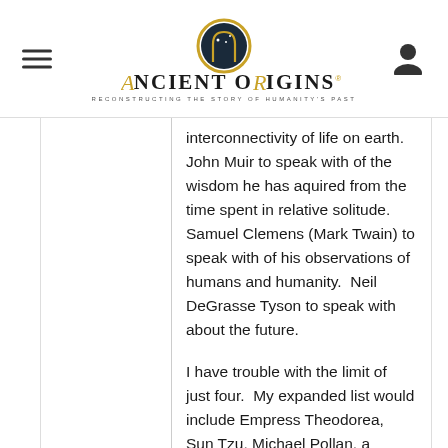Ancient Origins — Reconstructing the Story of Humanity's Past
interconnectivity of life on earth. John Muir to speak with of the wisdom he has aquired from the time spent in relative solitude. Samuel Clemens (Mark Twain) to speak with of his observations of humans and humanity. Neil DeGrasse Tyson to speak with about the future.
I have trouble with the limit of just four. My expanded list would include Empress Theodorea, Sun Tzu, Michael Pollan, a European farmer of cir. 1100 CE, an American cir. 1000 CE, an African cir. 8000 BCE.